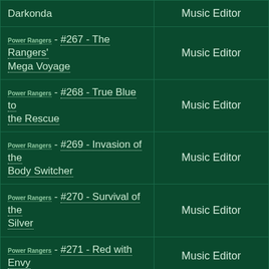| Episode | Role |
| --- | --- |
| [logo] - #267 - The Rangers' Mega Voyage | Music Editor |
| [logo] - #268 - True Blue to the Rescue | Music Editor |
| [logo] - #269 - Invasion of the Body Switcher | Music Editor |
| [logo] - #270 - Survival of the Silver | Music Editor |
| [logo] - #271 - Red with Envy | Music Editor |
| [logo] - #272 - The Silver Secret | Music Editor |
| [logo] - #273 - A Date with Danger | Music Editor |
| [logo] - #274 - Zhane's ... | Music Editor |